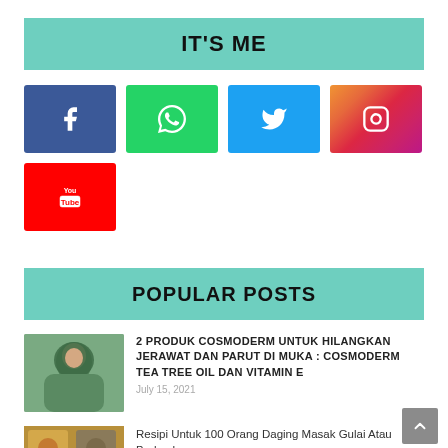IT'S ME
[Figure (infographic): Social media buttons: Facebook (blue), WhatsApp (green), Twitter (blue), Instagram (gradient pink/purple), YouTube (red)]
POPULAR POSTS
[Figure (photo): Woman wearing hijab touching face, associated with Cosmoderm article]
2 PRODUK COSMODERM UNTUK HILANGKAN JERAWAT DAN PARUT DI MUKA : COSMODERM TEA TREE OIL DAN VITAMIN E
July 15, 2021
[Figure (photo): Food dishes in containers, associated with recipe article]
Resipi Untuk 100 Orang Daging Masak Gulai Atau Berkuah